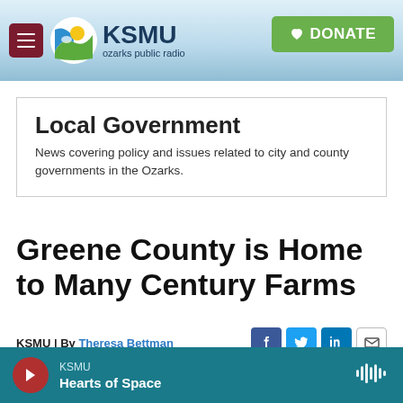KSMU ozarks public radio | DONATE
Local Government
News covering policy and issues related to city and county governments in the Ozarks.
Greene County is Home to Many Century Farms
KSMU | By Theresa Bettman
Published March 19, 2014 at 3:05 PM CDT
KSMU Hearts of Space